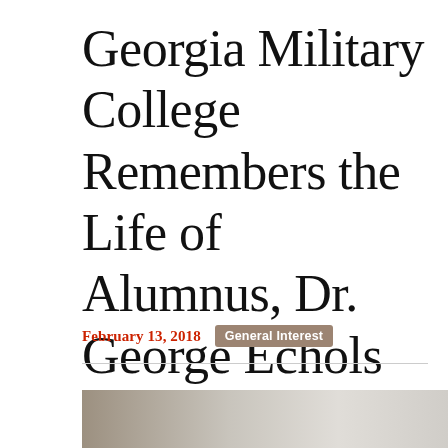Georgia Military College Remembers the Life of Alumnus, Dr. George Echols
February 13, 2018
General Interest
[Figure (photo): Partial bottom image, appears to be a grayscale or muted-tone photograph, cropped at the bottom of the page.]